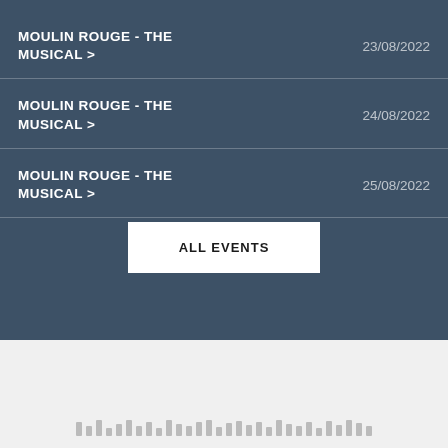MOULIN ROUGE - THE MUSICAL > 23/08/2022
MOULIN ROUGE - THE MUSICAL > 24/08/2022
MOULIN ROUGE - THE MUSICAL > 25/08/2022
ALL EVENTS